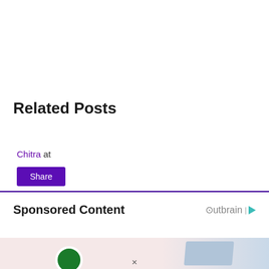Related Posts
Chitra at
Share
Sponsored Content
[Figure (photo): Sponsored content banner image with light pink and blue background, showing partial objects on left and right sides]